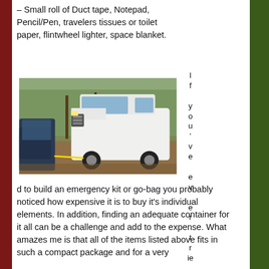– Small roll of Duct tape, Notepad, Pencil/Pen, travelers tissues or toilet paper, flintwheel lighter, space blanket.
[Figure (photo): A white SUV being towed by a dark-colored vehicle using a yellow tow rope, parked on a gravel area surrounded by autumn trees.]
If you've ever tried to build an emergency kit or go-bag you probably noticed how expensive it is to buy it's individual elements. In addition, finding an adequate container for it all can be a challenge and add to the expense. What amazes me is that all of the items listed above fits in such a compact package and for a very